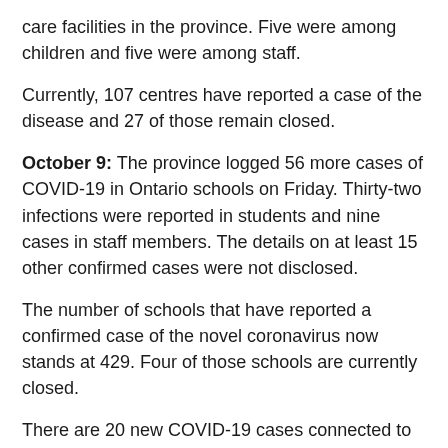care facilities in the province. Five were among children and five were among staff.
Currently, 107 centres have reported a case of the disease and 27 of those remain closed.
October 9: The province logged 56 more cases of COVID-19 in Ontario schools on Friday. Thirty-two infections were reported in students and nine cases in staff members. The details on at least 15 other confirmed cases were not disclosed.
The number of schools that have reported a confirmed case of the novel coronavirus now stands at 429. Four of those schools are currently closed.
There are 20 new COVID-19 cases connected to child-care facilities in the province. Nine were among children and 11 were among staff.
Now 107 centres have reported a confirmed case of the…